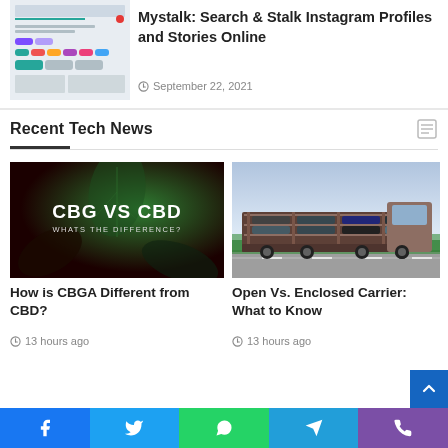[Figure (screenshot): Thumbnail screenshot of Mystalk website showing Instagram search interface with colored tags and buttons]
Mystalk: Search & Stalk Instagram Profiles and Stories Online
September 22, 2021
Recent Tech News
[Figure (photo): Close-up photo of green cannabis leaves with text overlay 'CBG VS CBD WHATS THE DIFFERENCE?' on dark background]
How is CBGA Different from CBD?
13 hours ago
[Figure (photo): Photo of a car transport truck carrier loaded with multiple vehicles driving on a highway]
Open Vs. Enclosed Carrier: What to Know
13 hours ago